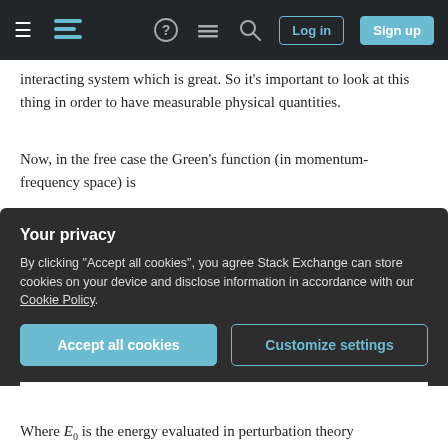Stack Exchange navigation bar with hamburger menu, logo, help, chat, search icons, Log in and Sign up buttons
interacting system which is great. So it's important to look at this thing in order to have measurable physical quantities.
Now, in the free case the Green's function (in momentum-frequency space) is
where ε_k is the energy of the state with momentum k, and I'm ignoring the chemical potential for simplicity.
Your privacy
By clicking "Accept all cookies", you agree Stack Exchange can store cookies on your device and disclose information in accordance with our Cookie Policy.
Accept all cookies
Customize settings
Where E₀ is the energy evaluated in perturbation theory